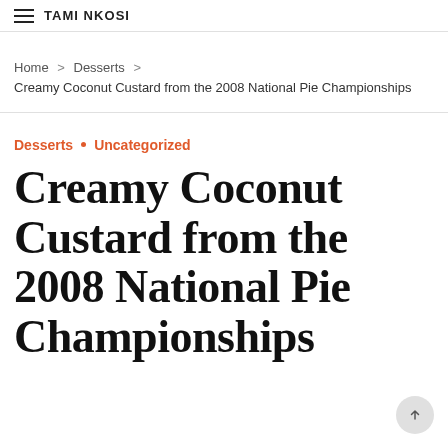☰ TAMI NKOSI
Home > Desserts > Creamy Coconut Custard from the 2008 National Pie Championships
Desserts • Uncategorized
Creamy Coconut Custard from the 2008 National Pie Championships